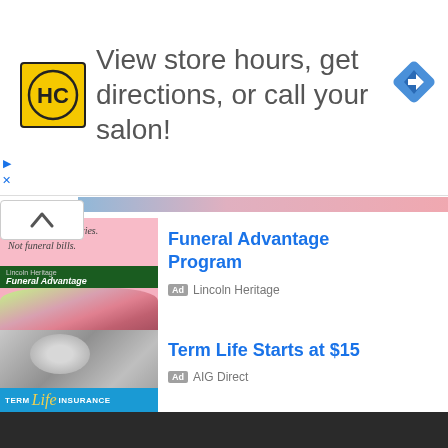[Figure (screenshot): Top banner ad for HC (Hair Club?) salon: yellow/black HC logo, text 'View store hours, get directions, or call your salon!', blue diamond navigation icon. Small play and X controls on the left side.]
[Figure (screenshot): Ad thumbnail for Lincoln Heritage Funeral Advantage: pink background with roses/flowers, italic text 'Leave good memories. Not funeral bills.' with green banner strip showing 'Lincoln Heritage Funeral Advantage']
Funeral Advantage Program
Ad  Lincoln Heritage
[Figure (screenshot): Ad thumbnail for AIG Direct Term Life Insurance: black and white photo of woman holding baby, blue strip at bottom reading 'TERM Life INSURANCE' with stylized gold 'Life' text]
Term Life Starts at $15
Ad  AIG Direct